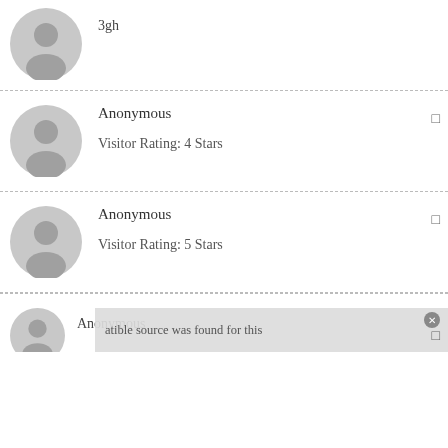3gh
Anonymous
Visitor Rating: 4 Stars
Anonymous
Visitor Rating: 5 Stars
Anonymous
atible source was found for this